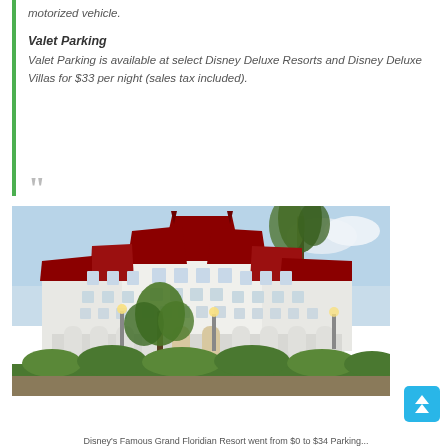motorized vehicle.
Valet Parking
Valet Parking is available at select Disney Deluxe Resorts and Disney Deluxe Villas for $33 per night (sales tax included).
““
[Figure (photo): Photo of Disney's Grand Floridian Resort, a large white Victorian-style hotel building with red roofs, palm trees, and ornate architecture at dusk.]
Disney's Famous Grand Floridian Resort went from $0 to $34 Parking...